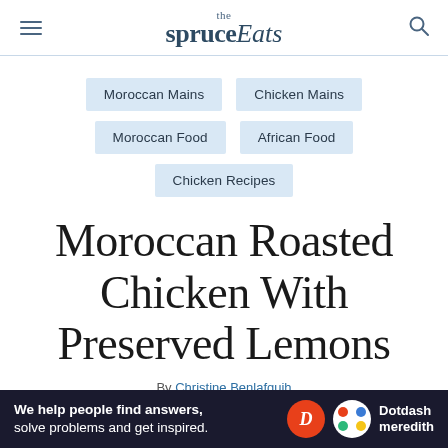the spruce Eats
Moroccan Mains
Chicken Mains
Moroccan Food
African Food
Chicken Recipes
Moroccan Roasted Chicken With Preserved Lemons
By Christine Benlafquih
[Figure (infographic): Dotdash Meredith advertisement banner: 'We help people find answers, solve problems and get inspired.']